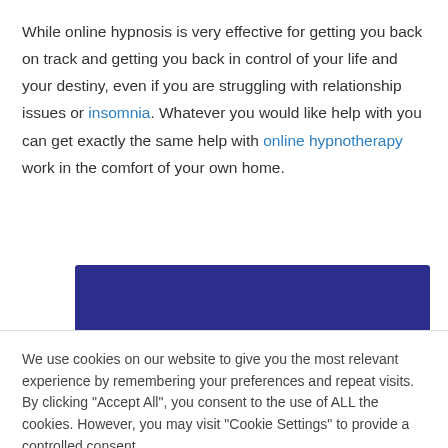While online hypnosis is very effective for getting you back on track and getting you back in control of your life and your destiny, even if you are struggling with relationship issues or insomnia. Whatever you would like help with you can get exactly the same help with online hypnotherapy work in the comfort of your own home.
[Figure (other): Dark navy/indigo rectangular banner element]
We use cookies on our website to give you the most relevant experience by remembering your preferences and repeat visits. By clicking "Accept All", you consent to the use of ALL the cookies. However, you may visit "Cookie Settings" to provide a controlled consent.